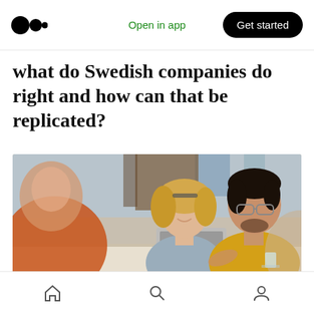Medium logo | Open in app | Get started
what do Swedish companies do right and how can that be replicated?
[Figure (photo): Three people sitting at a table in an office or cafe setting. A blonde woman in a grey sweater and a man in a yellow polo shirt are both looking at a laptop screen, while another person with orange clothing is blurred in the foreground. The man in yellow appears to be explaining something.]
Home | Search | Profile